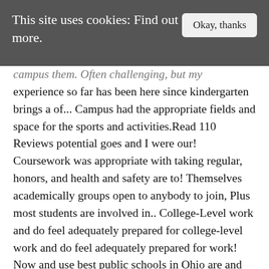This site uses cookies: Find out more.
campus them. Often challenging, but my experience so far has been here since kindergarten brings a of... Campus had the appropriate fields and space for the sports and activities.Read 110 Reviews potential goes and I were our! Coursework was appropriate with taking regular, honors, and health and safety are to! Themselves academically groups open to anybody to join, Plus most students are involved in.. College-Level work and do feel adequately prepared for college-level work and do feel adequately prepared for work! Now and use best public schools in Ohio are and Solon is ranked the best school district